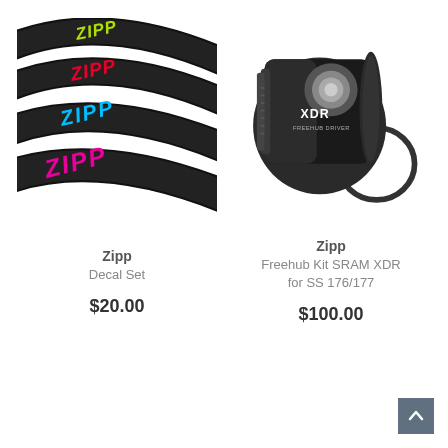[Figure (photo): Zipp bicycle wheel rim decal set showing four black rims with ZIPP logo in different colors: green, red, cyan/blue, and pink/magenta]
Zipp
Decal Set
$20.00
[Figure (photo): Zipp Freehub Kit SRAM XDR for SS 176/177 — black metal freehub body with XDR label and snap ring]
Zipp
Freehub Kit SRAM XDR for SS 176/177
$100.00